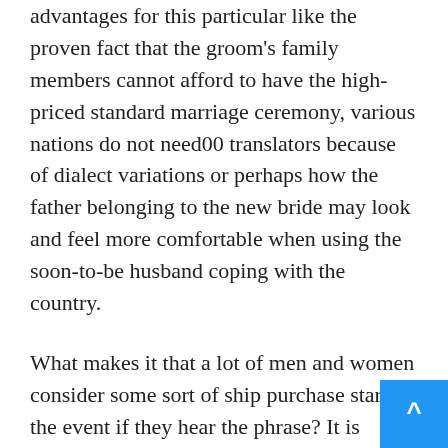advantages for this particular like the proven fact that the groom's family members cannot afford to have the high-priced standard marriage ceremony, various nations do not need00 translators because of dialect variations or perhaps how the father belonging to the new bride may look and feel more comfortable when using the soon-to-be husband coping with the country.
What makes it that a lot of men and women consider some sort of ship purchase star of the event if they hear the phrase? It is important to understand the info before you start to think precisely what certain could contact snail mail order brides. If you happen to become among those people that have already been deterred at this time sort of marital relationship, then you can definitely avoid considering it since there are many ways in which you might get a wonderful new